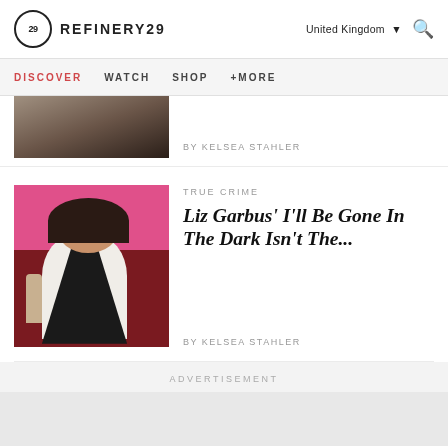REFINERY29 | United Kingdom | Search
DISCOVER  WATCH  SHOP  +MORE
by KELSEA STAHLER
TRUE CRIME
Liz Garbus' I'll Be Gone In The Dark Isn't The...
by KELSEA STAHLER
ADVERTISEMENT
TRUE CRIME